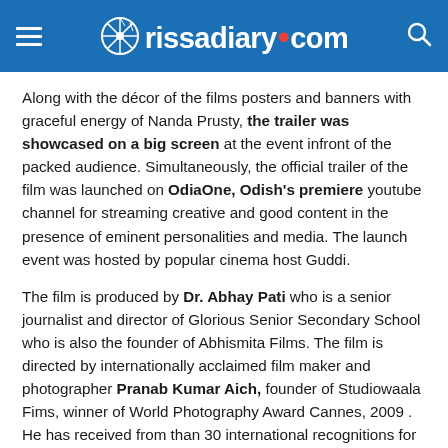orissadiary.com
Along with the décor of the films posters and banners with graceful energy of Nanda Prusty, the trailer was showcased on a big screen at the event infront of the packed audience. Simultaneously, the official trailer of the film was launched on OdiaOne, Odish's premiere youtube channel for streaming creative and good content in the presence of eminent personalities and media. The launch event was hosted by popular cinema host Guddi.
The film is produced by Dr. Abhay Pati who is a senior journalist and director of Glorious Senior Secondary School who is also the founder of Abhismita Films. The film is directed by internationally acclaimed film maker and photographer Pranab Kumar Aich, founder of Studiowaala Fims, winner of World Photography Award Cannes, 2009 . He has received from than 30 international recognitions for his documentaries on social issues like Citys Step Child and  I have Colored Dream.